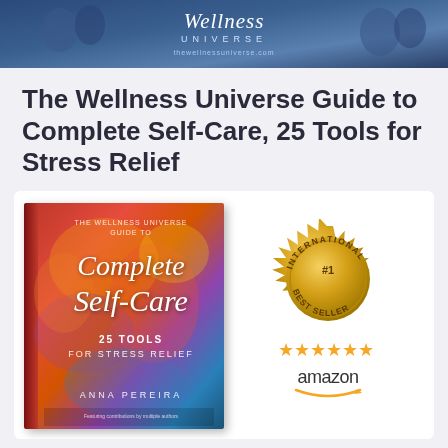[Figure (photo): Wellness Universe banner header with logo showing script 'Wellness' text and 'UNIVERSE' below it with website URL, blue/dark blue gradient background with people silhouettes]
The Wellness Universe Guide to Complete Self-Care, 25 Tools for Stress Relief
[Figure (photo): Book cover of 'The Wellness Universe Guide to Complete Self-Care, 25 Tools for Stress Relief' by Anna Pereira shown as a 3D book with colorful abstract art background in reds, pinks, oranges, and blues. Title text in white script. Next to the book is a gold International #1 Best Seller medallion seal and five gold stars above the Amazon logo.]